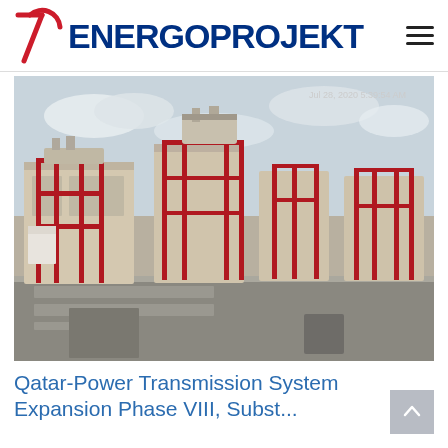ENERGOPROJEKT (70th anniversary logo)
[Figure (photo): Exterior photograph of a power substation facility in Qatar, showing large beige/sand-colored electrical equipment buildings with red metal structural frames and piping, GIS switchgear installations, and a concrete forecourt/apron area. Timestamp overlay: Jul 28, 2020 5:39:54 AM]
Qatar-Power Transmission System Expansion Phase VIII, Substation...